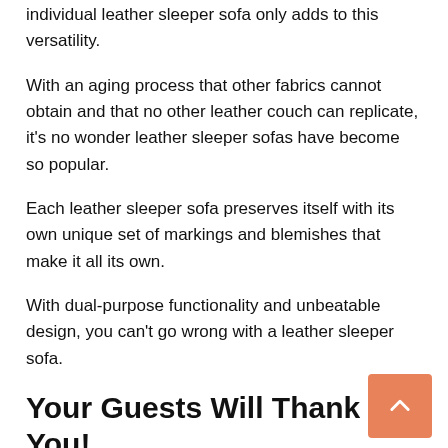individual leather sleeper sofa only adds to this versatility.
With an aging process that other fabrics cannot obtain and that no other leather couch can replicate, it's no wonder leather sleeper sofas have become so popular.
Each leather sleeper sofa preserves itself with its own unique set of markings and blemishes that make it all its own.
With dual-purpose functionality and unbeatable design, you can't go wrong with a leather sleeper sofa.
Your Guests Will Thank You!